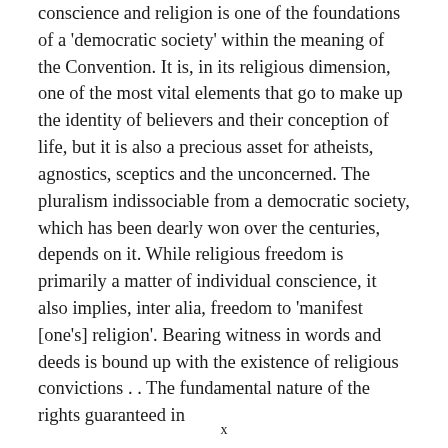conscience and religion is one of the foundations of a 'democratic society' within the meaning of the Convention. It is, in its religious dimension, one of the most vital elements that go to make up the identity of believers and their conception of life, but it is also a precious asset for atheists, agnostics, sceptics and the unconcerned. The pluralism indissociable from a democratic society, which has been dearly won over the centuries, depends on it. While religious freedom is primarily a matter of individual conscience, it also implies, inter alia, freedom to 'manifest [one's] religion'. Bearing witness in words and deeds is bound up with the existence of religious convictions . . The fundamental nature of the rights guaranteed in
x